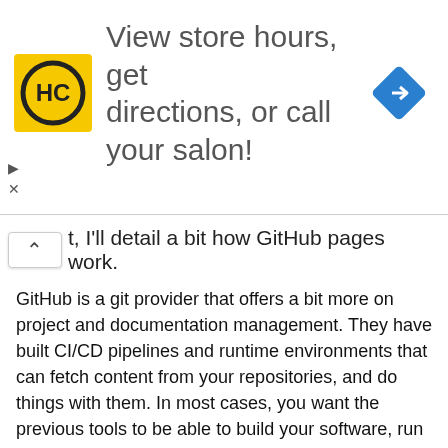[Figure (other): Advertisement banner for a salon locator service. Contains HC logo (yellow square with black circle and 'HC' text), text 'View store hours, get directions, or call your salon!', and a blue navigation arrow diamond icon. Small arrow and X controls for the ad are visible on the left side.]
t, I'll detail a bit how GitHub pages work.
GitHub is a git provider that offers a bit more on project and documentation management. They have built CI/CD pipelines and runtime environments that can fetch content from your repositories, and do things with them. In most cases, you want the previous tools to be able to build your software, run tests, Q&A processes, and deploy them in somewhere like AWS or Heroku --just examples.
One particular CI/CD+Runtime Environments that GitHub (and GitLab) offer for free, is the one they call pages (check this link). It consists on a process that fetches the static web content found in a specific repository (has to have a specific name and options checked), and deploy it to a plain web server. That means, linking to @KGIII's post, that github will take your content and place in a /public_html/ directory somewhere, for